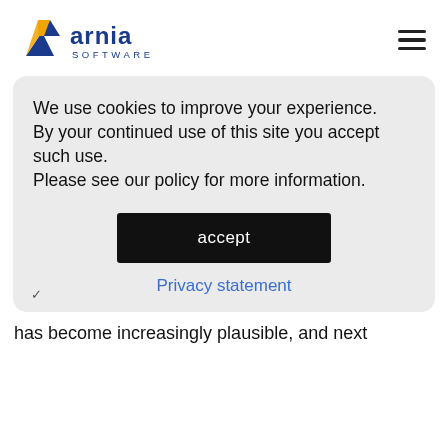[Figure (logo): Arnia Software logo with orange/yellow triangle chevron and blue text 'arnia SOFTWARE']
We use cookies to improve your experience.
By your continued use of this site you accept such use.
Please see our policy for more information.
accept
Privacy statement
has become increasingly plausible, and next